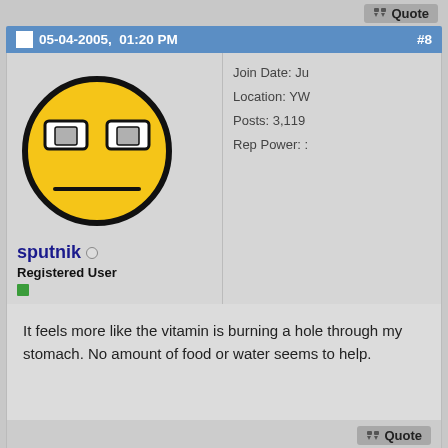Quote
05-04-2005,  01:20 PM  #8
[Figure (illustration): Yellow cartoon emoji face with half-closed rectangular eyes and a flat line mouth, outlined in black on yellow background, circular shaped.]
sputnik
Registered User
Join Date: Ju
Location: YW
Posts: 3,119
Rep Power:
It feels more like the vitamin is burning a hole through my stomach. No amount of food or water seems to help.
Quote
05-04-2005,  01:28 PM  #9
[Figure (photo): Labatt Wildcat Strong Ice beer advertisement image with red and yellow text on dark background showing a wildcat.]
Join Date: Ap
Location: Ca
Posts: 1,039